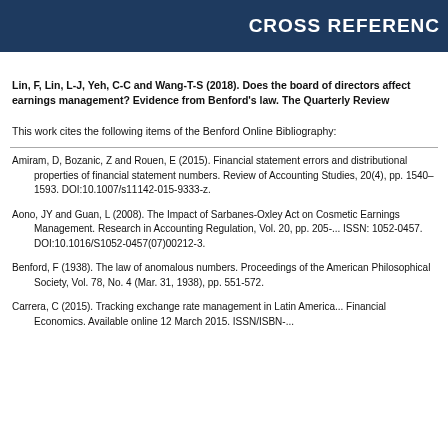CROSS REFERENCE
Lin, F, Lin, L-J, Yeh, C-C and Wang-T-S (2018). Does the board of directors affect earnings management? Evidence from Benford's law. The Quarterly Review...
This work cites the following items of the Benford Online Bibliography:
Amiram, D, Bozanic, Z and Rouen, E (2015). Financial statement errors and distributional properties of financial statement numbers. Review of Accounting Studies, 20(4), pp. 1540–1593. DOI:10.1007/s11142-015-9333-z.
Aono, JY and Guan, L (2008). The Impact of Sarbanes-Oxley Act on Cosmetic Earnings Management. Research in Accounting Regulation, Vol. 20, pp. 205-... ISSN: 1052-0457. DOI:10.1016/S1052-0457(07)00212-3.
Benford, F (1938). The law of anomalous numbers. Proceedings of the American Philosophical Society, Vol. 78, No. 4 (Mar. 31, 1938), pp. 551-572.
Carrera, C (2015). Tracking exchange rate management in Latin America... Financial Economics. Available online 12 March 2015. ISSN/ISBN-...